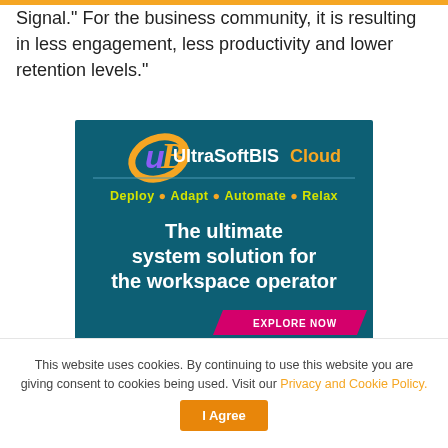Signal.” For the business community, it is resulting in less engagement, less productivity and lower retention levels.”
[Figure (advertisement): UltraSoftBIS Cloud advertisement. Dark teal background with orange/purple UB logo. Text: Deploy • Adapt • Automate • Relax. The ultimate system solution for the workspace operator. EXPLORE NOW button. UltraSoft Technologies logo at bottom.]
This website uses cookies. By continuing to use this website you are giving consent to cookies being used. Visit our Privacy and Cookie Policy.
I Agree